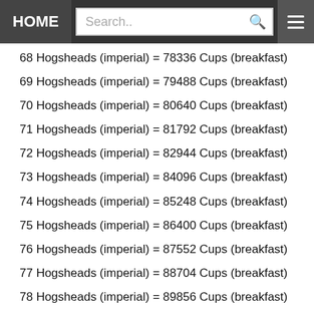HOME | Search..
68 Hogsheads (imperial) = 78336 Cups (breakfast)
69 Hogsheads (imperial) = 79488 Cups (breakfast)
70 Hogsheads (imperial) = 80640 Cups (breakfast)
71 Hogsheads (imperial) = 81792 Cups (breakfast)
72 Hogsheads (imperial) = 82944 Cups (breakfast)
73 Hogsheads (imperial) = 84096 Cups (breakfast)
74 Hogsheads (imperial) = 85248 Cups (breakfast)
75 Hogsheads (imperial) = 86400 Cups (breakfast)
76 Hogsheads (imperial) = 87552 Cups (breakfast)
77 Hogsheads (imperial) = 88704 Cups (breakfast)
78 Hogsheads (imperial) = 89856 Cups (breakfast)